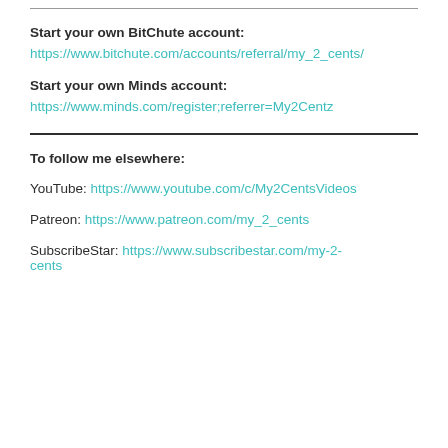Start your own BitChute account:
https://www.bitchute.com/accounts/referral/my_2_cents/
Start your own Minds account:
https://www.minds.com/register;referrer=My2Centz
To follow me elsewhere:
YouTube: https://www.youtube.com/c/My2CentsVideos
Patreon: https://www.patreon.com/my_2_cents
SubscribeStar: https://www.subscribestar.com/my-2-cents